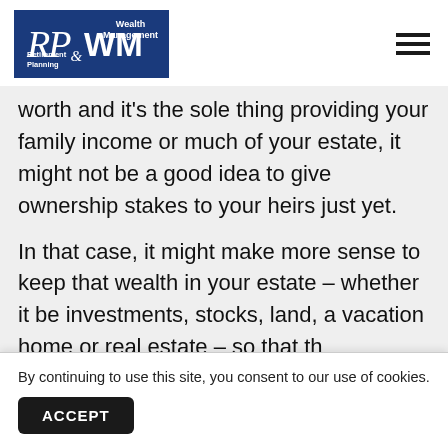[Figure (logo): RP & WM Wealth Management and Retirement Planning logo — dark blue rectangular box with italic serif RP, ampersand, bold WM text in white, with 'Wealth Management' top right and 'Retirement Planning' bottom left]
worth and it's the sole thing providing your family income or much of your estate, it might not be a good idea to give ownership stakes to your heirs just yet.
In that case, it might make more sense to keep that wealth in your estate – whether it be investments, stocks, land, a vacation home or real estate – so that the net worth of the estate can continue to grow
By continuing to use this site, you consent to our use of cookies.